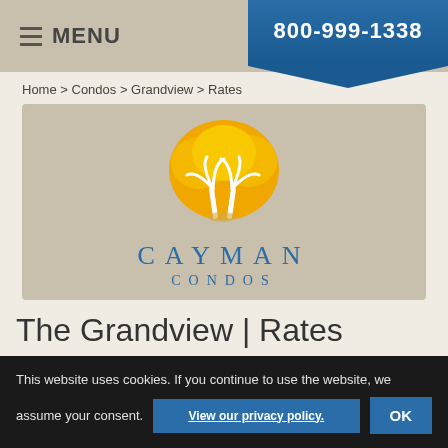MENU | 800-999-1338
Home > Condos > Grandview > Rates
[Figure (logo): Cayman Condos logo with palm trees in a golden/orange circle above the text CAYMAN CONDOS]
The Grandview | Rates
Three Bedroom—Accommodates up to Six Guests
This website uses cookies. If you continue to use the website, we assume your consent. View our privacy policy. OK